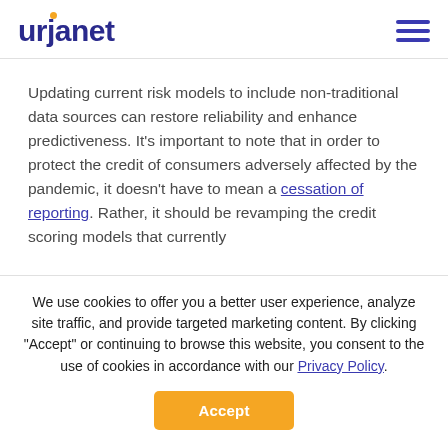urjanet
Updating current risk models to include non-traditional data sources can restore reliability and enhance predictiveness. It’s important to note that in order to protect the credit of consumers adversely affected by the pandemic, it doesn’t have to mean a cessation of reporting. Rather, it should be revamping the credit scoring models that currently
We use cookies to offer you a better user experience, analyze site traffic, and provide targeted marketing content. By clicking “Accept” or continuing to browse this website, you consent to the use of cookies in accordance with our Privacy Policy.